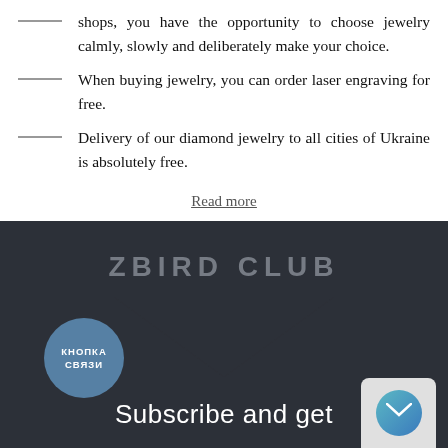shops, you have the opportunity to choose jewelry calmly, slowly and deliberately make your choice.
When buying jewelry, you can order laser engraving for free.
Delivery of our diamond jewelry to all cities of Ukraine is absolutely free.
Read more
ZBIRD CLUB
[Figure (illustration): Downward chevron/arrow shape in dark background section]
[Figure (illustration): Blue circular button with Cyrillic text КНОПКА СВЯЗИ]
[Figure (illustration): Email icon button in bottom right corner]
Subscribe and get